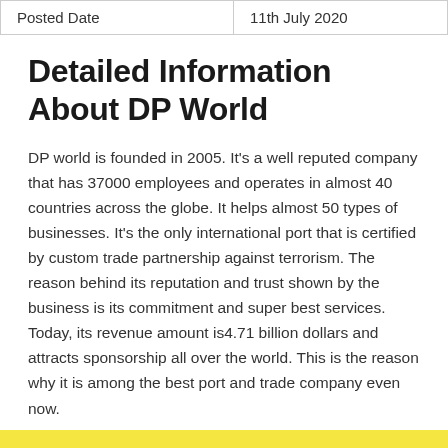| Posted Date | 11th July 2020 |
| --- | --- |
Detailed Information About DP World
DP world is founded in 2005. It's a well reputed company that has 37000 employees and operates in almost 40 countries across the globe. It helps almost 50 types of businesses. It's the only international port that is certified by custom trade partnership against terrorism. The reason behind its reputation and trust shown by the business is its commitment and super best services. Today, its revenue amount is4.71 billion dollars and attracts sponsorship all over the world. This is the reason why it is among the best port and trade company even now.